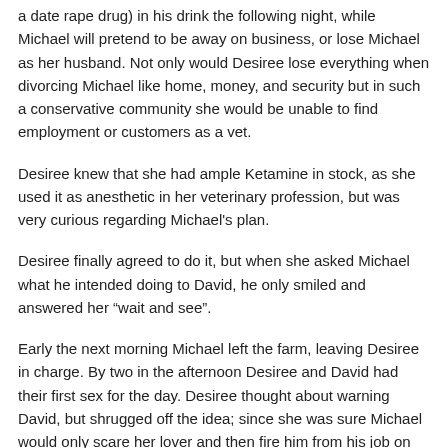a date rape drug) in his drink the following night, while Michael will pretend to be away on business, or lose Michael as her husband. Not only would Desiree lose everything when divorcing Michael like home, money, and security but in such a conservative community she would be unable to find employment or customers as a vet.
Desiree knew that she had ample Ketamine in stock, as she used it as anesthetic in her veterinary profession, but was very curious regarding Michael's plan.
Desiree finally agreed to do it, but when she asked Michael what he intended doing to David, he only smiled and answered her “wait and see”.
Early the next morning Michael left the farm, leaving Desiree in charge. By two in the afternoon Desiree and David had their first sex for the day. Desiree thought about warning David, but shrugged off the idea; since she was sure Michael would only scare her lover and then fire him from his job on the farm. When eight ’o clock finally arrived, Desiree slipped some Ketalar into David’s coffee. David sat on his bed quickly downing the coffee in order to have some more sex with Desiree, but he found himself unable to keep his eyes open. Within five minutes he was out as a light. Desiree heard Michael’s car drive up and park, and he soon came walking